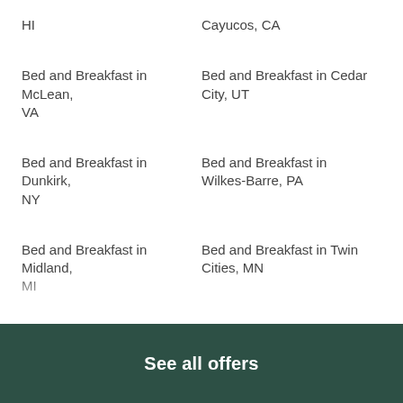HI
Cayucos, CA
Bed and Breakfast in McLean, VA
Bed and Breakfast in Cedar City, UT
Bed and Breakfast in Dunkirk, NY
Bed and Breakfast in Wilkes-Barre, PA
Bed and Breakfast in Midland, MI
Bed and Breakfast in Twin Cities, MN
Bed and Breakfast in Stinson Beach, CA
Bed and Breakfast in Stuart, FL
Bed and Breakfast in Goleta, CA
Bed and Breakfast in Owego, NY
Bed and Breakfast in Beacon, NY
Bed and Breakfast in Sebago Lake, ME
See all offers